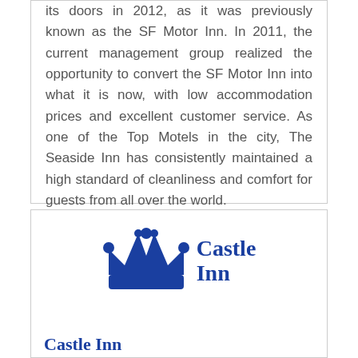its doors in 2012, as it was previously known as the SF Motor Inn. In 2011, the current management group realized the opportunity to convert the SF Motor Inn into what it is now, with low accommodation prices and excellent customer service. As one of the Top Motels in the city, The Seaside Inn has consistently maintained a high standard of cleanliness and comfort for guests from all over the world.
[Figure (logo): Castle Inn logo with blue crown icon on the left and 'Castle Inn' text in blue serif font on the right]
Castle Inn